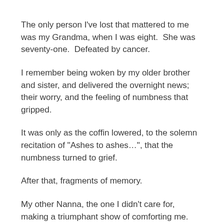The only person I've lost that mattered to me was my Grandma, when I was eight.  She was seventy-one.  Defeated by cancer.
I remember being woken by my older brother and sister, and delivered the overnight news; their worry, and the feeling of numbness that gripped.
It was only as the coffin lowered, to the solemn recitation of "Ashes to ashes…", that the numbness turned to grief.
After that, fragments of memory.
My other Nanna, the one I didn't care for, making a triumphant show of comforting me.